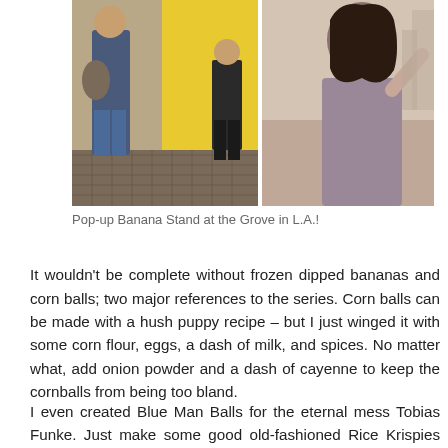[Figure (photo): Two side-by-side outdoor photos: left shows two people standing near a yellow structure, one carrying a brown bag, wearing jeans and flip-flops; right shows a woman with sunglasses gesturing with her hand.]
Pop-up Banana Stand at the Grove in L.A.!
It wouldn't be complete without frozen dipped bananas and corn balls; two major references to the series. Corn balls can be made with a hush puppy recipe – but I just winged it with some corn flour, eggs, a dash of milk, and spices. No matter what, add onion powder and a dash of cayenne to keep the cornballs from being too bland.
I even created Blue Man Balls for the eternal mess Tobias Funke. Just make some good old-fashioned Rice Krispies Treats